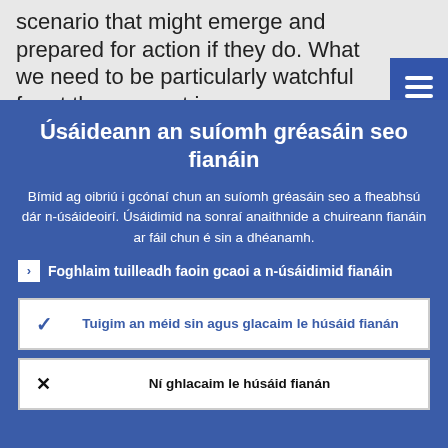scenario that might emerge and prepared for action if they do. What we need to be particularly watchful for at the moment is
Úsáideann an suíomh gréasáin seo fianáin
Bímid ag oibriú i gcónaí chun an suíomh gréasáin seo a fheabhsú dár n-úsáideoirí. Úsáidimid na sonraí anaithnide a chuireann fianáin ar fáil chun é sin a dhéanamh.
Foghlaim tuilleadh faoin gcaoi a n-úsáidimid fianáin
Tuigim an méid sin agus glacaim le húsáid fianán
Ní ghlacaim le húsáid fianán